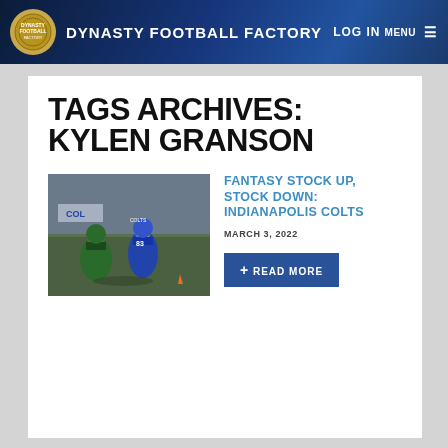DYNASTY FOOTBALL FACTORY  LOG IN  MENU
TAGS ARCHIVES: KYLEN GRANSON
[Figure (photo): Football game action photo showing Indianapolis Colts player #83 in blue uniform being defended by a player in green uniform on an indoor field]
FANTASY STOCK UP, STOCK DOWN: INDIANAPOLIS COLTS
MARCH 3, 2022
+ READ MORE